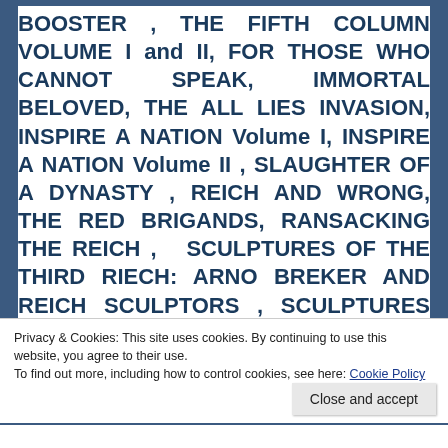BOOSTER , THE FIFTH COLUMN VOLUME I and II, FOR THOSE WHO CANNOT SPEAK, IMMORTAL BELOVED, THE ALL LIES INVASION, INSPIRE A NATION Volume I, INSPIRE A NATION Volume II , SLAUGHTER OF A DYNASTY , REICH AND WRONG, THE RED BRIGANDS, RANSACKING THE REICH , SCULPTURES OF THE THIRD RIECH: ARNO BREKER AND REICH SCULPTORS , SCULPTURES OF THE THIRD RIECH: JOSEF THORAK AND REICH SCULPTORS , SCULPTURES OF THE THIRD REICH VOLUME III Porcelain and Reich Sculptors,
Privacy & Cookies: This site uses cookies. By continuing to use this website, you agree to their use.
To find out more, including how to control cookies, see here: Cookie Policy
Close and accept